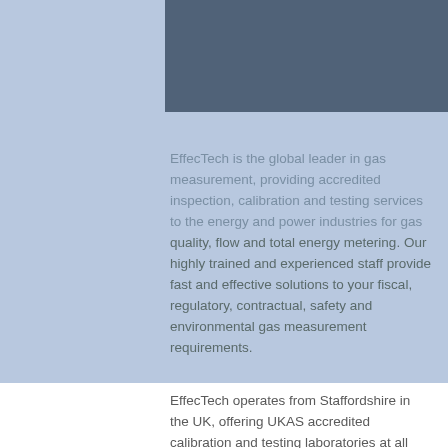[Figure (photo): Dark blue-grey rectangle on a light blue background, representing a header image area for EffecTech company page.]
EffecTech is the global leader in gas measurement, providing accredited inspection, calibration and testing services to the energy and power industries for gas quality, flow and total energy metering. Our highly trained and experienced staff provide fast and effective solutions to your fiscal, regulatory, contractual, safety and environmental gas measurement requirements.
EffecTech operates from Staffordshire in the UK, offering UKAS accredited calibration and testing laboratories at all sites. EffecTech also supports agents and distributors in other key countries to service the needs of specific local markets. From these locations, EffecTech is able to supply